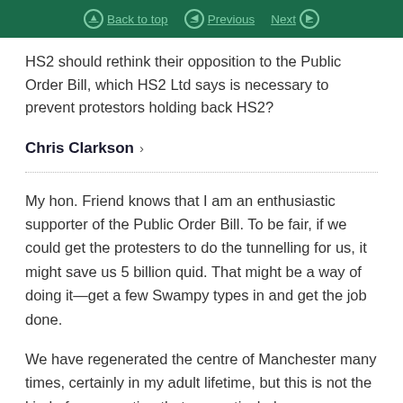Back to top | Previous | Next
HS2 should rethink their opposition to the Public Order Bill, which HS2 Ltd says is necessary to prevent protestors holding back HS2?
Chris Clarkson
My hon. Friend knows that I am an enthusiastic supporter of the Public Order Bill. To be fair, if we could get the protesters to do the tunnelling for us, it might save us 5 billion quid. That might be a way of doing it—get a few Swampy types in and get the job done.
We have regenerated the centre of Manchester many times, certainly in my adult lifetime, but this is not the kind of regeneration that we particularly